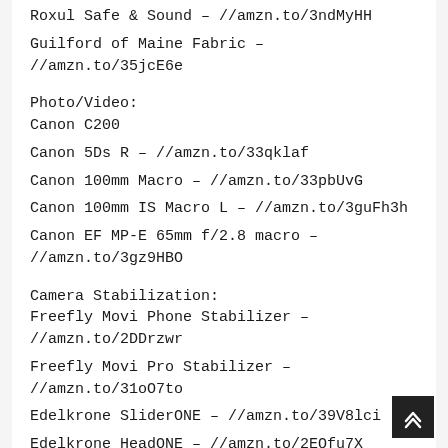Roxul Safe & Sound – //amzn.to/3ndMyHH
Guilford of Maine Fabric – //amzn.to/35jcE6e
Photo/Video:
Canon C200
Canon 5Ds R – //amzn.to/33qklaf
Canon 100mm Macro – //amzn.to/33pbUvG
Canon 100mm IS Macro L – //amzn.to/3guFh3h
Canon EF MP-E 65mm f/2.8 macro – //amzn.to/3gz9HBO
Camera Stabilization:
Freefly Movi Phone Stabilizer – //amzn.to/2DDrzwr
Freefly Movi Pro Stabilizer – //amzn.to/31oO7to
Edelkrone SliderONE – //amzn.to/39V8lci
Edelkrone HeadONE – //amzn.to/2EQfu7X
Audio:
Shure SM7B – //amzn.to/2DUQPP1
Sennheiser 416 – //amzn.to/3oiLJnIT